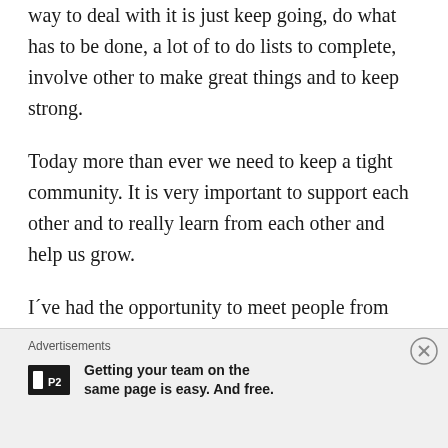way to deal with it is just keep going, do what has to be done, a lot of to do lists to complete, involve other to make great things and to keep strong.
Today more than ever we need to keep a tight community. It is very important to support each other and to really learn from each other and help us grow.
I´ve had the opportunity to meet people from around the world thanks to our online cake community and funny enough it amazes me to hear that the complaints, the issues and the problems are the same to everyone, no matter where they are from.
Advertisements
Getting your team on the same page is easy. And free.